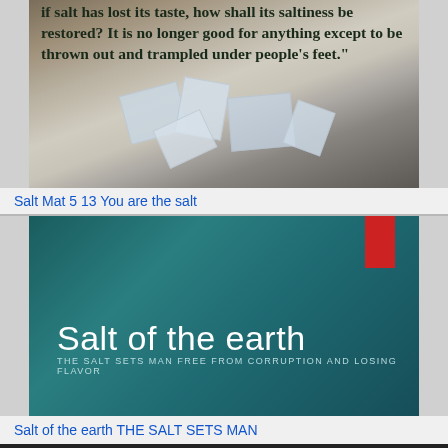[Figure (photo): Photo of salt crystals on a rocky/sandy surface with overlaid bold text quote: 'if salt has lost its taste, how shall its saltiness be restored? It is no longer good for anything except to be thrown out and trampled under people's feet.']
Salt Mat 5 13 You are the salt
[Figure (photo): Presentation slide with dark teal background and a red bookmark ribbon in the top right corner. Large white text reads 'Salt of the earth' with smaller text below: 'THE SALT SETS MAN FREE FROM CORRUPTION AND LOSING FLAVOR']
Salt of the earth THE SALT SETS MAN